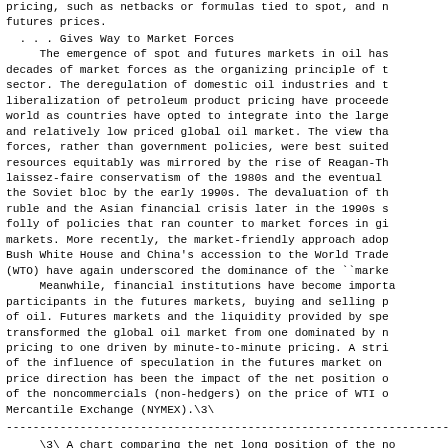pricing, such as netbacks or formulas tied to spot, and futures prices.
. . . Gives Way to Market Forces
The emergence of spot and futures markets in oil has decades of market forces as the organizing principle of the sector. The deregulation of domestic oil industries and the liberalization of petroleum product pricing have proceeded world as countries have opted to integrate into the large and relatively low priced global oil market. The view that forces, rather than government policies, were best suited resources equitably was mirrored by the rise of Reagan-Th laissez-faire conservatism of the 1980s and the eventual the Soviet bloc by the early 1990s. The devaluation of the ruble and the Asian financial crisis later in the 1990s s folly of policies that ran counter to market forces in g markets. More recently, the market-friendly approach ado Bush White House and China's accession to the World Trade (WTO) have again underscored the dominance of the ``marke
Meanwhile, financial institutions have become importa participants in the futures markets, buying and selling p of oil. Futures markets and the liquidity provided by spe transformed the global oil market from one dominated by n pricing to one driven by minute-to-minute pricing. A stri of the influence of speculation in the futures market on price direction has been the impact of the net position o of the noncommercials (non-hedgers) on the price of WTI o Mercantile Exchange (NYMEX).\3\
\3\ A chart comparing the net long position of the no with the price of WTI is included in the Appendix.